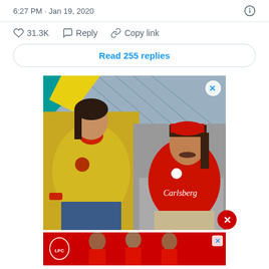6:27 PM · Jan 19, 2020
31.3K  Reply  Copy link
Read 255 replies
[Figure (photo): Advertisement image showing a woman in a yellow jacket and a man in a red Liverpool FC jersey with Carlsberg sponsor, seated in what appears to be a stadium setting. Below is a red LFC banner with additional people in Liverpool jerseys.]